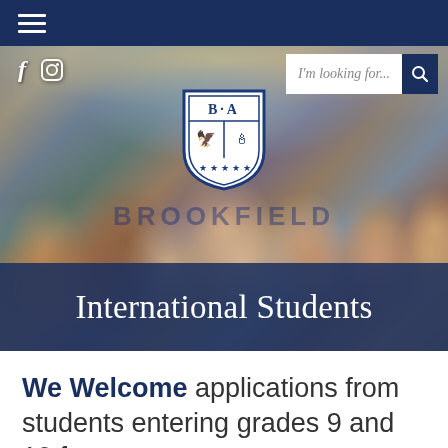[Figure (screenshot): Brookfield Academy school website screenshot showing navigation bar, hero image with students smiling, BA shield logo, search bar with 'I'm looking for...' placeholder, and 'International Students' page title banner]
We Welcome applications from students entering grades 9 and 10 from